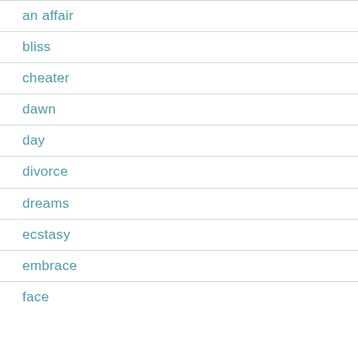an affair
bliss
cheater
dawn
day
divorce
dreams
ecstasy
embrace
face